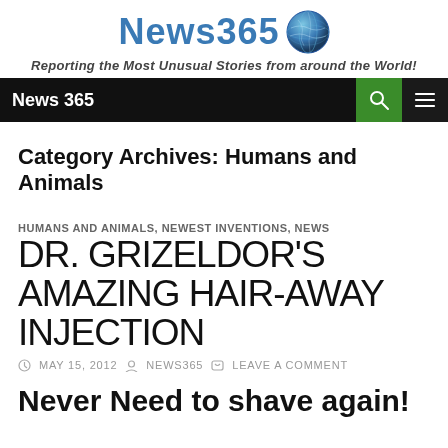News365 — Reporting the Most Unusual Stories from around the World!
News 365
Category Archives: Humans and Animals
HUMANS AND ANIMALS, NEWEST INVENTIONS, NEWS
DR. GRIZELDOR'S AMAZING HAIR-AWAY INJECTION
MAY 15, 2012  NEWS365  LEAVE A COMMENT
Never Need to shave again!